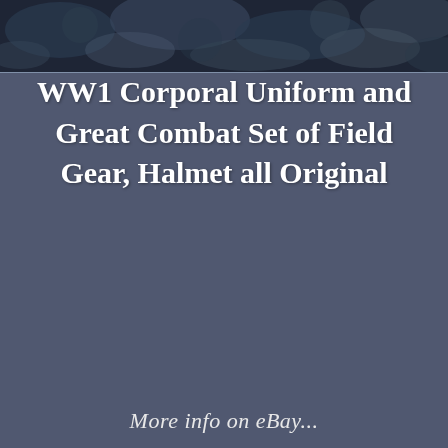[Figure (illustration): Dark mottled blue-grey textured banner at top of page, resembling a decorative background pattern]
WW1 Corporal Uniform and Great Combat Set of Field Gear, Halmet all Original
More info on eBay...